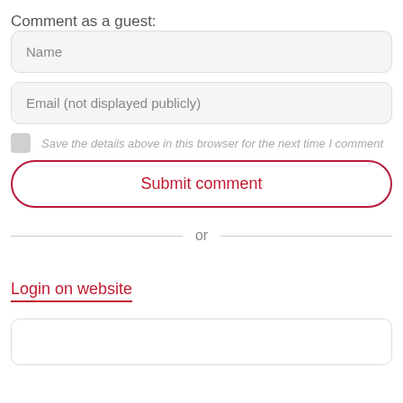Comment as a guest:
Name
Email (not displayed publicly)
Save the details above in this browser for the next time I comment
Submit comment
or
Login on website